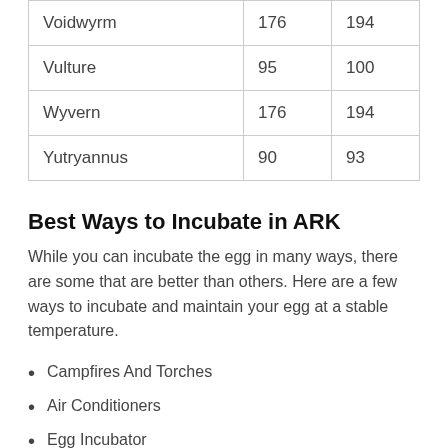| Voidwyrm | 176 | 194 |
| Vulture | 95 | 100 |
| Wyvern | 176 | 194 |
| Yutryannus | 90 | 93 |
Best Ways to Incubate in ARK
While you can incubate the egg in many ways, there are some that are better than others. Here are a few ways to incubate and maintain your egg at a stable temperature.
Campfires And Torches
Air Conditioners
Egg Incubator